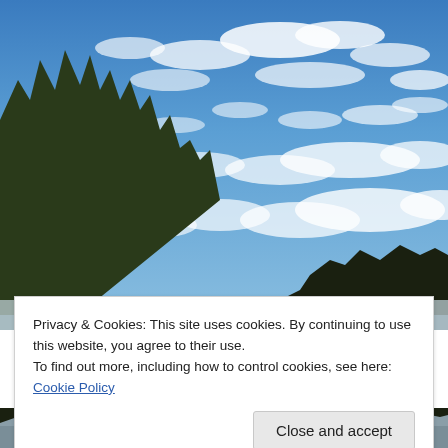[Figure (photo): Outdoor winter landscape photograph showing a blue sky with scattered white clouds, evergreen trees on the left side, and dark treeline silhouette on the right horizon. Snowy ground visible at very bottom.]
Privacy & Cookies: This site uses cookies. By continuing to use this website, you agree to their use.
To find out more, including how to control cookies, see here: Cookie Policy